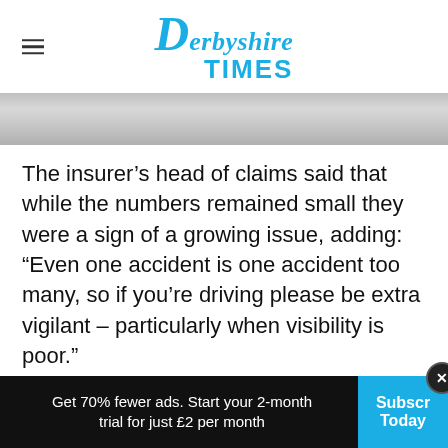Derbyshire Times
[Figure (photo): A narrow horizontal banner image, appears grey/silver, likely a road or vehicle scene with low visibility]
The insurer’s head of claims said that while the numbers remained small they were a sign of a growing issue, adding: “Even one accident is one accident too many, so if you’re driving please be extra vigilant – particularly when visibility is poor.”
A survey of customers found that as well as
Get 70% fewer ads. Start your 2-month trial for just £2 per month | Subscribe Today